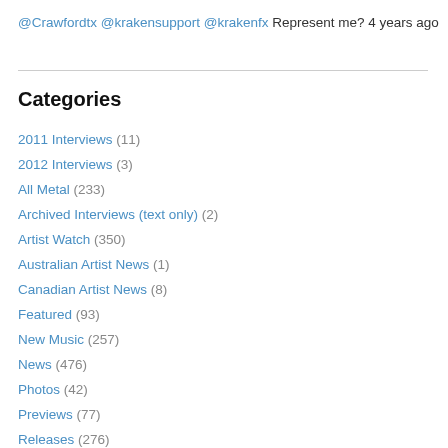@Crawfordtx @krakensupport @krakenfx Represent me? 4 years ago
Categories
2011 Interviews (11)
2012 Interviews (3)
All Metal (233)
Archived Interviews (text only) (2)
Artist Watch (350)
Australian Artist News (1)
Canadian Artist News (8)
Featured (93)
New Music (257)
News (476)
Photos (42)
Previews (77)
Releases (276)
Reviews (65)